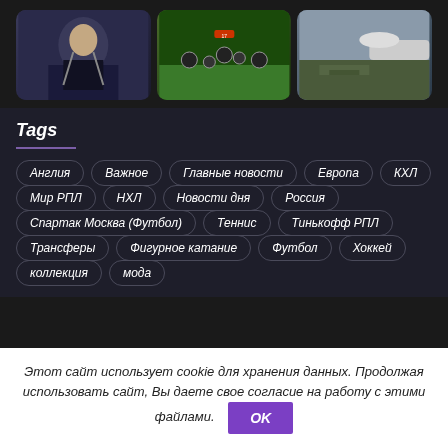[Figure (photo): Three thumbnail images: woman in black dress, soccer players on field, airplane at airport]
Tags
Англия
Важное
Главные новости
Европа
КХЛ
Мир РПЛ
НХЛ
Новости дня
Россия
Спартак Москва (Футбол)
Теннис
Тинькофф РПЛ
Трансферы
Фигурное катание
Футбол
Хоккей
коллекция
мода
Этот сайт использует cookie для хранения данных. Продолжая использовать сайт, Вы даете свое согласие на работу с этими файлами. OK